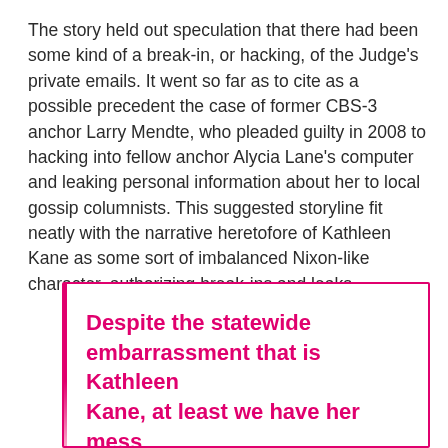The story held out speculation that there had been some kind of a break-in, or hacking, of the Judge's private emails. It went so far as to cite as a possible precedent the case of former CBS-3 anchor Larry Mendte, who pleaded guilty in 2008 to hacking into fellow anchor Alycia Lane's computer and leaking personal information about her to local gossip columnists. This suggested storyline fit neatly with the narrative heretofore of Kathleen Kane as some sort of imbalanced Nixon-like character, authorizing break-ins and leaks.
Despite the statewide embarrassment that is Kathleen Kane, at least we have her mess to thank for revealing the truth